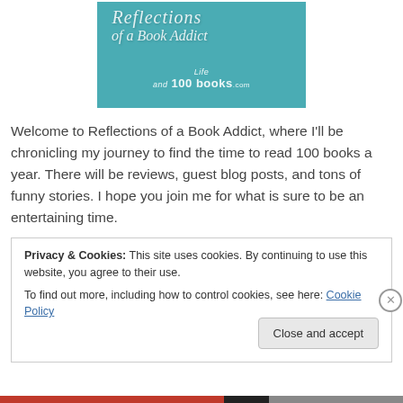[Figure (illustration): Blog header image with teal/turquoise background reading 'Reflections of a Book Addict' in decorative script with 'Life and 100 books.com' subtitle]
Welcome to Reflections of a Book Addict, where I'll be chronicling my journey to find the time to read 100 books a year. There will be reviews, guest blog posts, and tons of funny stories. I hope you join me for what is sure to be an entertaining time.
Privacy & Cookies: This site uses cookies. By continuing to use this website, you agree to their use.
To find out more, including how to control cookies, see here: Cookie Policy